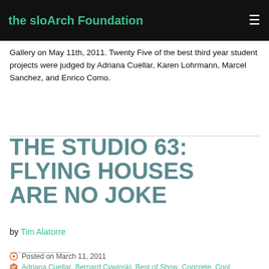the sloArch Foundation
Gallery on May 11th, 2011. Twenty Five of the best third year student projects were judged by Adriana Cuellar, Karen Lohrmann, Marcel Sanchez, and Enrico Como.
THE STUDIO 63: FLYING HOUSES ARE NO JOKE
by Tim Alatorre
Posted on March 11, 2011
Adriana Cuellar, Bernard Cywinski, Best of Show, Concrete, Cool